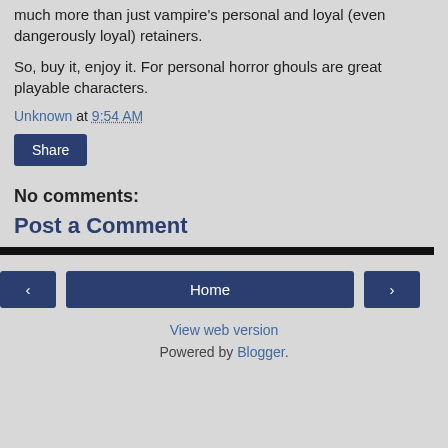much more than just vampire's personal and loyal (even dangerously loyal) retainers.

So, buy it, enjoy it. For personal horror ghouls are great playable characters.
Unknown at 9:54 AM
Share
No comments:
Post a Comment
Home | < | > | View web version | Powered by Blogger.